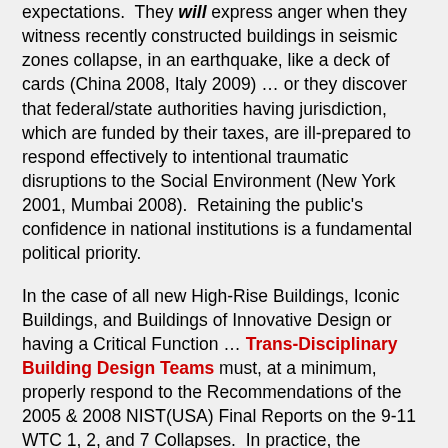expectations. They will express anger when they witness recently constructed buildings in seismic zones collapse, in an earthquake, like a deck of cards (China 2008, Italy 2009) ... or they discover that federal/state authorities having jurisdiction, which are funded by their taxes, are ill-prepared to respond effectively to intentional traumatic disruptions to the Social Environment (New York 2001, Mumbai 2008). Retaining the public's confidence in national institutions is a fundamental political priority.
In the case of all new High-Rise Buildings, Iconic Buildings, and Buildings of Innovative Design or having a Critical Function ... Trans-Disciplinary Building Design Teams must, at a minimum, properly respond to the Recommendations of the 2005 & 2008 NIST(USA) Final Reports on the 9-11 WTC 1, 2, and 7 Collapses. In practice, the majority of these Recommendations should be applied to the design of all new buildings !
Fire Engineers, competent concerning the processes of 'real' building design and construction, must begin to